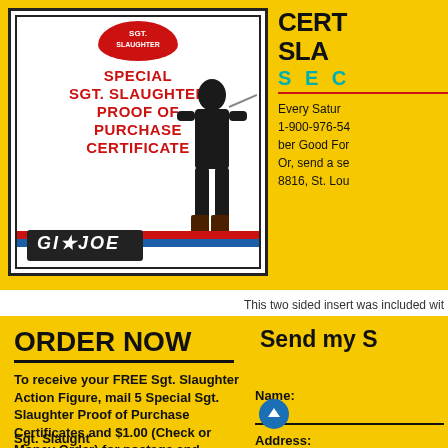[Figure (illustration): GI Joe Special Sgt. Slaughter Proof of Purchase Certificate with action figure illustration and GI Joe logo on yellow background]
SPECIAL SGT. SLAUGHTER PROOF OF PURCHASE CERTIFICATE
CERT... SLA... SEC... Every Satu... 1-900-976-54... ber Good For... Or, send a se... 8816, St. Lou...
This two sided insert was included wit...
ORDER NOW
To receive your FREE Sgt. Slaughter Action Figure, mail 5 Special Sgt. Slaughter Proof of Purchase Certificates and $1.00 (Check or Money Order) for postage and handling to:
Send my S...
Name:
Address: